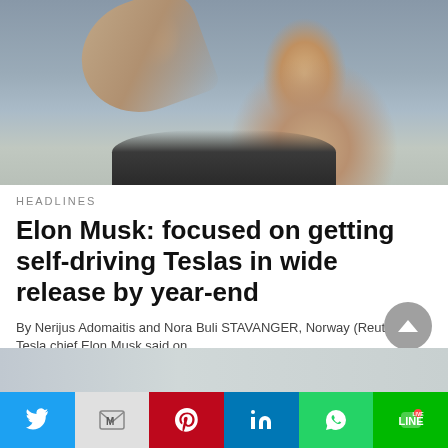[Figure (photo): Elon Musk waving with one hand raised, wearing a dark shirt, outdoors with blurred background]
HEADLINES
Elon Musk: focused on getting self-driving Teslas in wide release by year-end
By Nerijus Adomaitis and Nora Buli STAVANGER, Norway (Reuters) - Tesla chief Elon Musk said on…
26 mins ago
[Figure (photo): Partial second article image, mostly gray/blue tones]
[Figure (other): Social sharing bar with Twitter, Gmail, Pinterest, LinkedIn, WhatsApp, and LINE buttons]